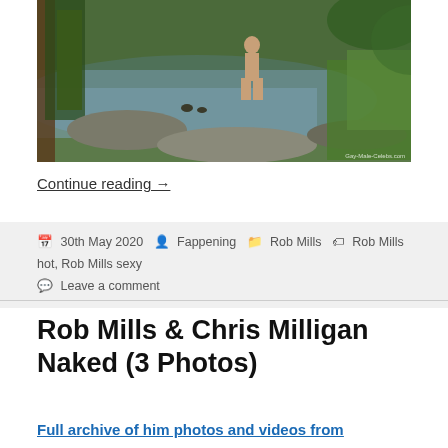[Figure (photo): Outdoor nature photo showing a person standing nude by a lake/river, surrounded by trees and rocks, viewed from behind. Watermark reads Gay-Male-Celebs.com]
Continue reading →
30th May 2020  Fappening  Rob Mills  Rob Mills hot, Rob Mills sexy  Leave a comment
Rob Mills & Chris Milligan Naked (3 Photos)
Full archive of him photos and videos from